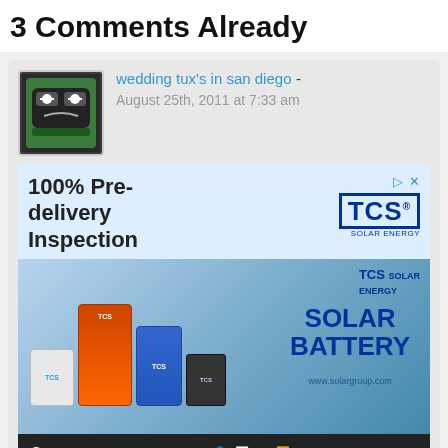3 Comments Already
wedding tux's in san diego - August 25th, 2011 at 7:33 am
[Figure (illustration): TCS Solar Battery advertisement showing 100% Pre-delivery Inspection text with battery products image]
The other day, while I was at work, my sister stole my iPad and tested to see if it can survive a 40 foot drop, just so she can be a youtube sensation. My iPad is now destroyed and...